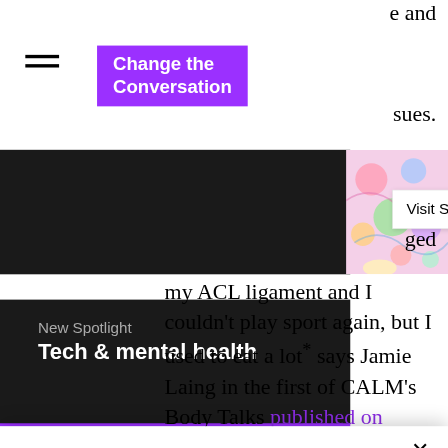e and
[Figure (logo): Change the Conversation logo — white bold text on purple background]
sues.
New Spotlight
Tech & mental health
[Figure (photo): Colourful illustrated image partially visible]
Visit Spotlight
nd
ged
my ACL ligament and I couldn't play sport again, but I used to eat a lot' says Jamie Laing in the first of CALM's Body Talks published on Instagram
We use cookies and similar technologies to enable services and functionality on our site and to understand your interaction with our service. By clicking on accept, you agree to our use of such technologies for marketing and analytics. See Privacy Policy
Decline All
Accept
Cookie Settings